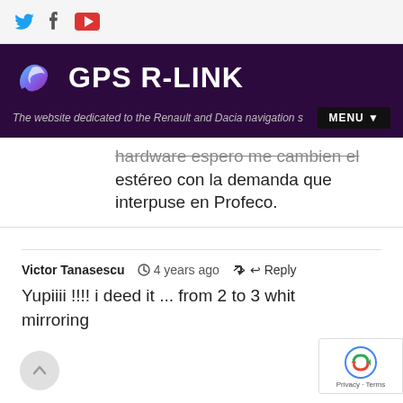GPS R-LINK — The website dedicated to the Renault and Dacia navigation s… MENU
hardware espero me cambien el estéreo con la demanda que interpuse en Profeco.
Victor Tanasescu  🕐 4 years ago  ↩ Reply
Yupiiii !!!! i deed it ... from 2 to 3 whit mirroring